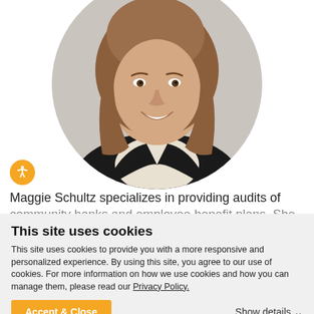[Figure (photo): Circular profile photo of a smiling woman with long brown hair wearing a black blazer over a light blouse, on a light gray background.]
Maggie Schultz specializes in providing audits of community banks and employee benefit plans. She has
This site uses cookies
This site uses cookies to provide you with a more responsive and personalized experience. By using this site, you agree to our use of cookies. For more information on how we use cookies and how you can manage them, please read our Privacy Policy.
Accept & Close
Show details